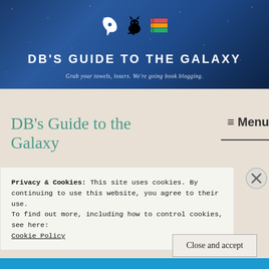[Figure (illustration): Website banner for 'DB's Guide to the Galaxy' — dark blue starry sky background with a white rocket, black cat, and colorful stacked books icons, site title in large white bold uppercase letters, subtitle 'Grab your towels, losers. We're going book blogging.' in italic white text]
DB's Guide to the Galaxy
≡ Menu
Privacy & Cookies: This site uses cookies. By continuing to use this website, you agree to their use.
To find out more, including how to control cookies, see here:
Cookie Policy
Close and accept